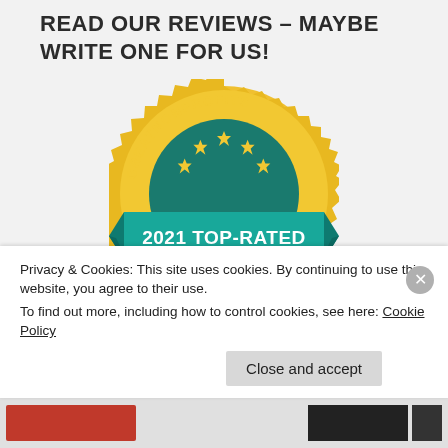READ OUR REVIEWS – MAYBE WRITE ONE FOR US!
[Figure (logo): GreatNonprofits 2021 Top-Rated Nonprofit gold seal badge with teal ribbon banner and five gold stars]
Privacy & Cookies: This site uses cookies. By continuing to use this website, you agree to their use.
To find out more, including how to control cookies, see here: Cookie Policy
Close and accept